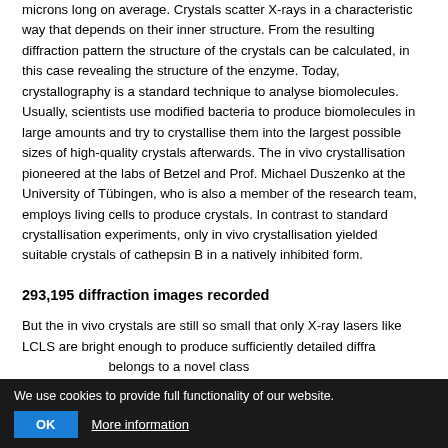microns long on average. Crystals scatter X-rays in a characteristic way that depends on their inner structure. From the resulting diffraction pattern the structure of the crystals can be calculated, in this case revealing the structure of the enzyme. Today, crystallography is a standard technique to analyse biomolecules. Usually, scientists use modified bacteria to produce biomolecules in large amounts and try to crystallise them into the largest possible sizes of high-quality crystals afterwards. The in vivo crystallisation pioneered at the labs of Betzel and Prof. Michael Duszenko at the University of Tübingen, who is also a member of the research team, employs living cells to produce crystals. In contrast to standard crystallisation experiments, only in vivo crystallisation yielded suitable crystals of cathepsin B in a natively inhibited form.
293,195 diffraction images recorded
But the in vivo crystals are still so small that only X-ray lasers like LCLS are bright enough to produce sufficiently detailed diffraction images. LCLS belongs to a novel class of X-ray lasers called X-ray free-electron lasers that are based on powerful particle
We use cookies to provide full functionality of our website.